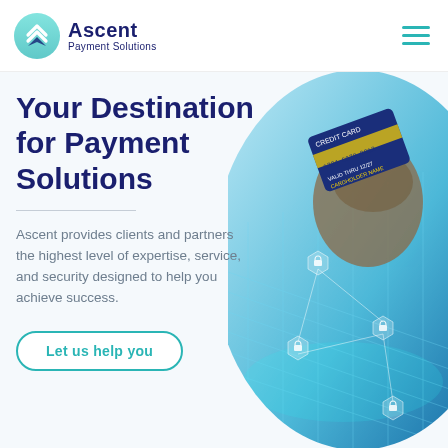[Figure (logo): Ascent Payment Solutions logo with teal chevron mountain icon and dark navy text]
[Figure (illustration): Hamburger menu icon with three teal horizontal lines]
Your Destination for Payment Solutions
Ascent provides clients and partners the highest level of expertise, service, and security designed to help you achieve success.
[Figure (photo): Circular hero image showing a hand holding a credit card over a digital network/blockchain graphic on a blue glowing keyboard background with hexagonal lock icons]
Let us help you